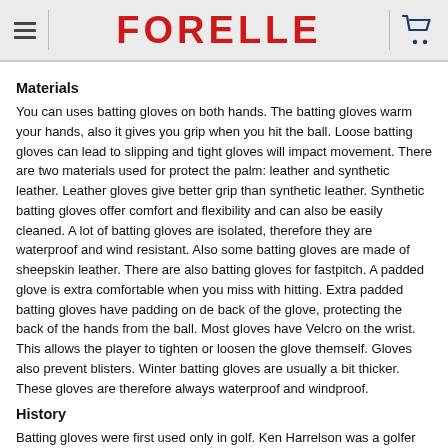FORELLE
Materials
You can uses batting gloves on both hands. The batting gloves warm your hands, also it gives you grip when you hit the ball. Loose batting gloves can lead to slipping and tight gloves will impact movement. There are two materials used for protect the palm: leather and synthetic leather. Leather gloves give better grip than synthetic leather. Synthetic batting gloves offer comfort and flexibility and can also be easily cleaned. A lot of batting gloves are isolated, therefore they are waterproof and wind resistant. Also some batting gloves are made of sheepskin leather. There are also batting gloves for fastpitch. A padded glove is extra comfortable when you miss with hitting. Extra padded batting gloves have padding on de back of the glove, protecting the back of the hands from the ball. Most gloves have Velcro on the wrist. This allows the player to tighten or loosen the glove themself. Gloves also prevent blisters. Winter batting gloves are usually a bit thicker. These gloves are therefore always waterproof and windproof.
History
Batting gloves were first used only in golf. Ken Harrelson was a golfer but also a baseball player. During a baseball game he got a blister while hitting. Coincidentally he had his golf gloves in his pocket and thought he could put